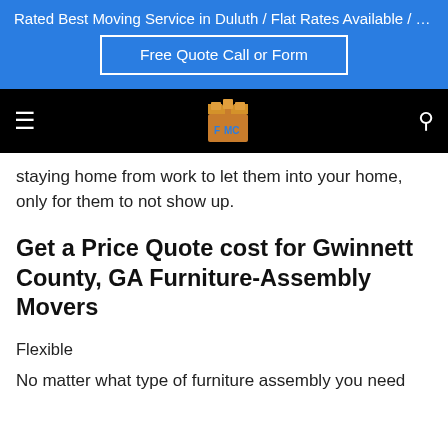Rated Best Moving Service in Duluth / Flat Rates Available / F...
Free Quote Call or Form
[Figure (logo): FMC movers logo with cardboard boxes on black navigation bar]
staying home from work to let them into your home, only for them to not show up.
Get a Price Quote cost for Gwinnett County, GA Furniture-Assembly Movers
Flexible
No matter what type of furniture assembly you need